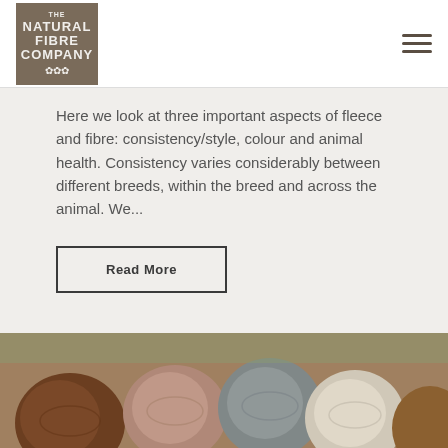The Natural Fibre Company
Here we look at three important aspects of fleece and fibre: consistency/style, colour and animal health. Consistency varies considerably between different breeds, within the breed and across the animal. We...
Read More
[Figure (photo): Close-up photo of multiple skeins/balls of natural fibre yarn in various earthy colors including brown, grey, pink/mauve, and white, clustered together]